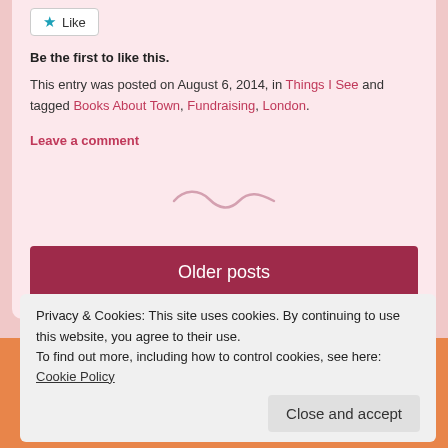Be the first to like this.
This entry was posted on August 6, 2014, in Things I See and tagged Books About Town, Fundraising, London.
Leave a comment
[Figure (illustration): Decorative tilde/swirl divider in pink/mauve color]
Older posts
[Figure (illustration): Colorful illustrated books background strip in orange/red tones]
Privacy & Cookies: This site uses cookies. By continuing to use this website, you agree to their use.
To find out more, including how to control cookies, see here: Cookie Policy
Close and accept